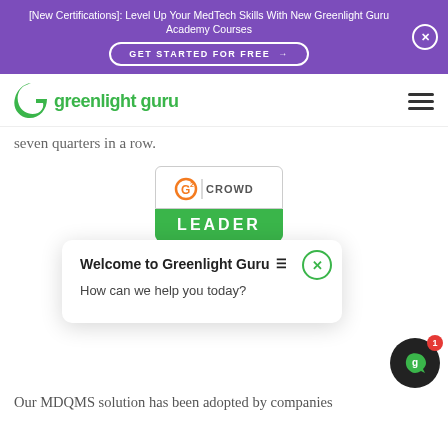[New Certifications]: Level Up Your MedTech Skills With New Greenlight Guru Academy Courses
[Figure (logo): Greenlight Guru logo with green stylized G icon and green text 'greenlight guru']
seven quarters in a row.
[Figure (other): G2 Crowd Leader badge - white top section with G2 Crowd logo, green bottom section with 'LEADER' text in white]
[Figure (screenshot): Chat popup widget saying 'Welcome to Greenlight Guru' with hamburger menu icon and message 'How can we help you today?' with green X close button]
[Figure (other): Dark circular chat button with green Greenlight Guru G icon and red notification badge showing '1']
Our MDQMS solution has been adopted by companies